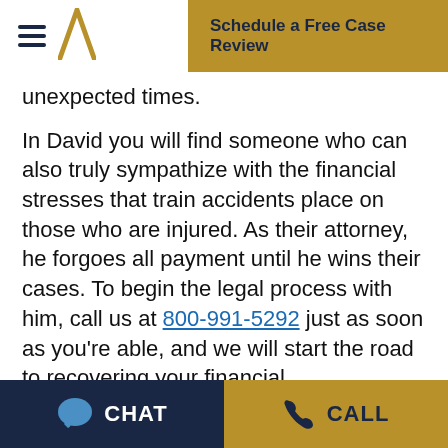Schedule a Free Case Review
unexpected times.
In David you will find someone who can also truly sympathize with the financial stresses that train accidents place on those who are injured. As their attorney, he forgoes all payment until he wins their cases. To begin the legal process with him, call us at 800-991-5292 just as soon as you're able, and we will start the road to recovering your financial compensation right away.
CHAT  CALL